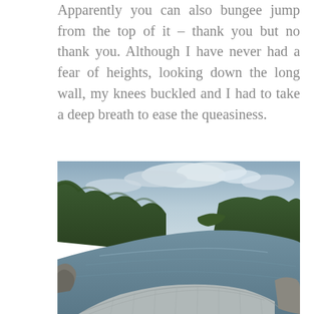Apparently you can also bungee jump from the top of it – thank you but no thank you. Although I have never had a fear of heights, looking down the long wall, my knees buckled and I had to take a deep breath to ease the queasiness.
[Figure (photo): A large curved dam (Gordon Dam, Tasmania) photographed from above, showing the arc of the concrete wall, the reservoir lake stretching into the distance, surrounded by forested green hills under a cloudy sky. The water is calm and blue-grey, reflecting the overcast sky.]